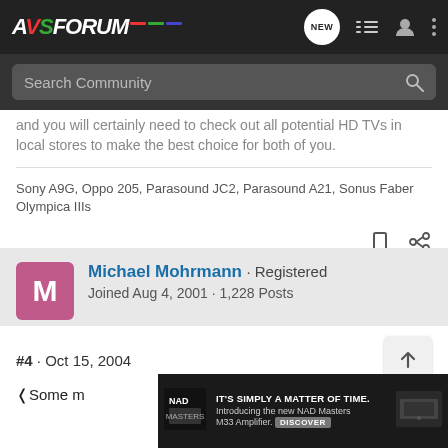AVS Forum
and you will certainly need to check out all potential HD TVs in local stores to make the best choice for both of you.
Sony A9G, Oppo 205, Parasound JC2, Parasound A21, Sonus Faber Olympica IIIs
Michael Mohrmann · Registered
Joined Aug 4, 2001 · 1,228 Posts
#4 · Oct 15, 2004
❮Some m
[Figure (screenshot): NAD advertisement banner: IT'S SIMPLY A MATTER OF TIME. Introducing the new NAD Masters M33 Amplifier. DISCOVER]